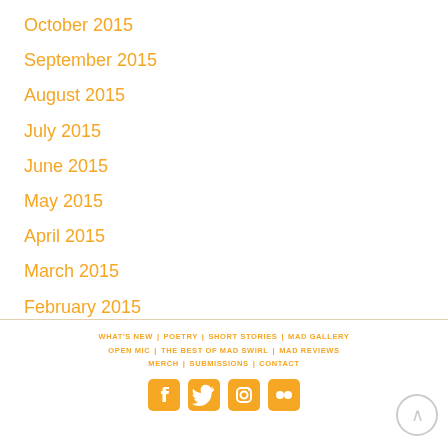October 2015
September 2015
August 2015
July 2015
June 2015
May 2015
April 2015
March 2015
February 2015
January 2015
WHAT'S NEW  POETRY  SHORT STORIES  MAD GALLERY  OPEN MIC  THE BEST OF MAD SWIRL  MAD REVIEWS  MERCH  SUBMISSIONS  CONTACT